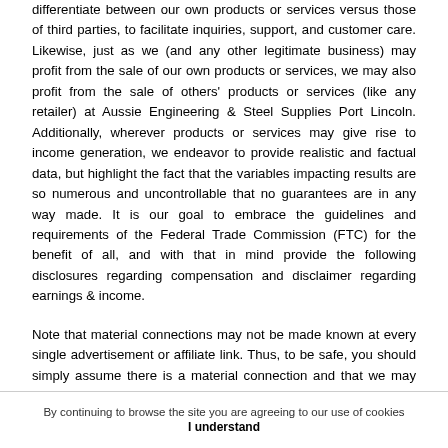differentiate between our own products or services versus those of third parties, to facilitate inquiries, support, and customer care. Likewise, just as we (and any other legitimate business) may profit from the sale of our own products or services, we may also profit from the sale of others' products or services (like any retailer) at Aussie Engineering & Steel Supplies Port Lincoln. Additionally, wherever products or services may give rise to income generation, we endeavor to provide realistic and factual data, but highlight the fact that the variables impacting results are so numerous and uncontrollable that no guarantees are in any way made. It is our goal to embrace the guidelines and requirements of the Federal Trade Commission (FTC) for the benefit of all, and with that in mind provide the following disclosures regarding compensation and disclaimer regarding earnings & income.
Note that material connections may not be made known at every single advertisement or affiliate link. Thus, to be safe, you should simply assume there is a material connection and that we may receive compensation in money or otherwise for anything you purchase as a result of visiting this website, and also that we may
By continuing to browse the site you are agreeing to our use of cookies
I understand